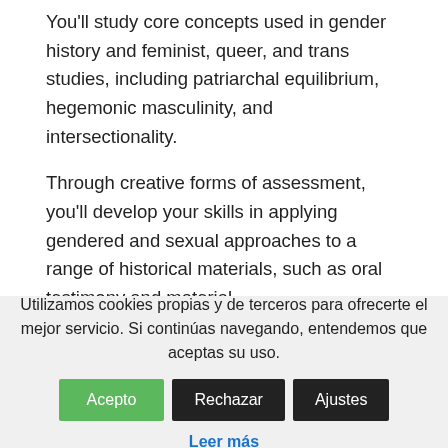You'll study core concepts used in gender history and feminist, queer, and trans studies, including patriarchal equilibrium, hegemonic masculinity, and intersectionality.
Through creative forms of assessment, you'll develop your skills in applying gendered and sexual approaches to a range of historical materials, such as oral testimony and material
Utilizamos cookies propias y de terceros para ofrecerte el mejor servicio. Si continúas navegando, entendemos que aceptas su uso. Acepto Rechazar Ajustes
Leer más